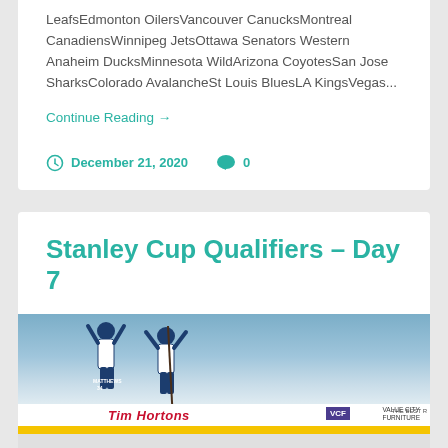LeafsEdmonton OilersVancouver CanucksMontreal CanadiensWinnipeg JetsOttawa Senators Western Anaheim DucksMinnesota WildArizona CoyotesSan Jose SharksColorado AvalancheSt Louis BluesLA KingsVegas...
Continue Reading →
December 21, 2020   0
Stanley Cup Qualifiers – Day 7
[Figure (photo): Hockey players celebrating on ice rink with Tim Hortons and VCF Value City Furniture banners visible. Player wearing Matthews jersey number 34 visible.]